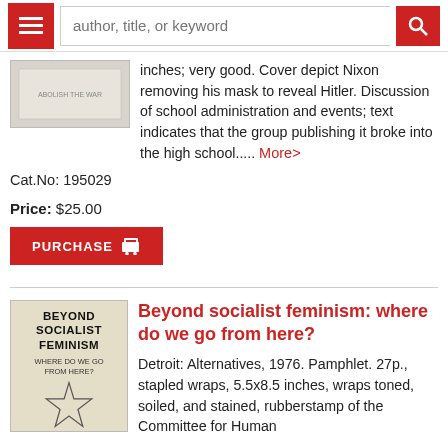author, title, or keyword
inches; very good. Cover depict Nixon removing his mask to reveal Hitler. Discussion of school administration and events; text indicates that the group publishing it broke into the high school..... More>
Cat.No: 195029
Price: $25.00
PURCHASE
Beyond socialist feminism: where do we go from here?
Detroit: Alternatives, 1976. Pamphlet. 27p., stapled wraps, 5.5x8.5 inches, wraps toned, soiled, and stained, rubberstamp of the Committee for Human